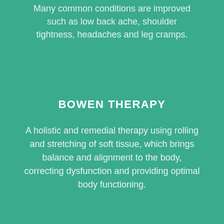Many common conditions are improved such as low back ache, shoulder tightness, headaches and leg cramps.
BOWEN THERAPY
A holistic and remedial therapy using rolling and stretching of soft tissue, which brings balance and alignment to the body, correcting dysfunction and providing optimal body functioning.